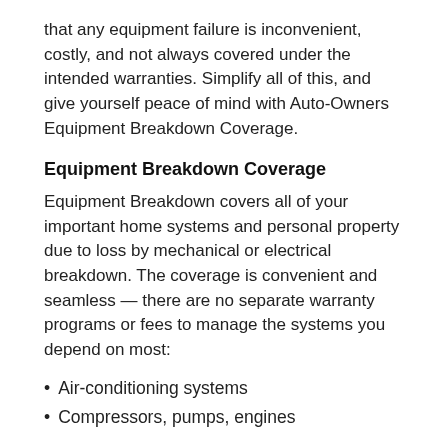that any equipment failure is inconvenient, costly, and not always covered under the intended warranties. Simplify all of this, and give yourself peace of mind with Auto-Owners Equipment Breakdown Coverage.
Equipment Breakdown Coverage
Equipment Breakdown covers all of your important home systems and personal property due to loss by mechanical or electrical breakdown. The coverage is convenient and seamless — there are no separate warranty programs or fees to manage the systems you depend on most:
Air-conditioning systems
Compressors, pumps, engines